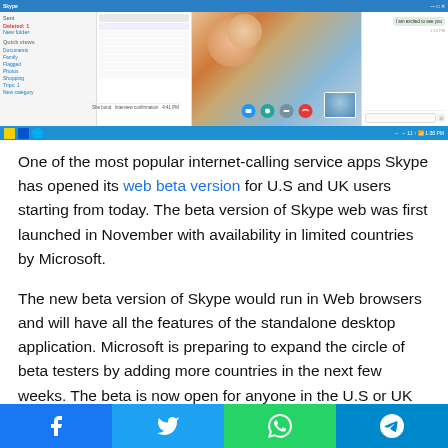[Figure (screenshot): Screenshot of Skype web beta running in a browser on Windows, showing a video call between two people (a woman and a child), with call control buttons and a chat panel on the right. The Windows taskbar is visible at the bottom of the screenshot.]
One of the most popular internet-calling service apps Skype has opened its web beta version for U.S and UK users starting from today. The beta version of Skype web was first launched in November with availability in limited countries by Microsoft.
The new beta version of Skype would run in Web browsers and will have all the features of the standalone desktop application. Microsoft is preparing to expand the circle of beta testers by adding more countries in the next few weeks. The beta is now open for anyone in the U.S or UK who wants to try
[Figure (infographic): Social sharing bar at the bottom with four buttons: Facebook (blue), Twitter (light blue), WhatsApp (green), Telegram (dark blue)]